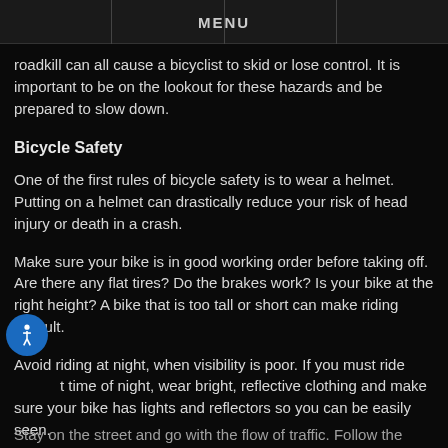MENU
roadkill can all cause a bicyclist to skid or lose control. It is important to be on the lookout for these hazards and be prepared to slow down.
Bicycle Safety
One of the first rules of bicycle safety is to wear a helmet. Putting on a helmet can drastically reduce your risk of head injury or death in a crash.
Make sure your bike is in good working order before taking off. Are there any flat tires? Do the brakes work? Is your bike at the right height? A bike that is too tall or short can make riding difficult.
Avoid riding at night, when visibility is poor. If you must ride at time of night, wear bright, reflective clothing and make sure your bike has lights and reflectors so you can be easily seen.
Stay on the street and go with the flow of traffic. Follow the